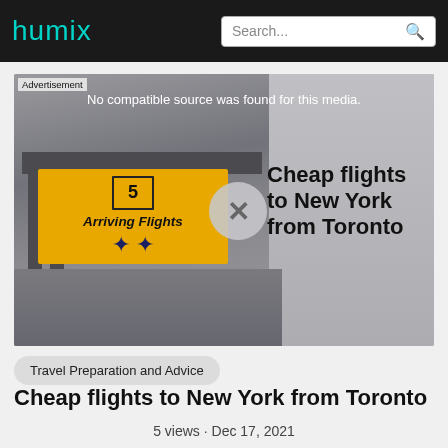humix | Search...
[Figure (screenshot): Video thumbnail with advertisement overlay showing an airport arrivals sign (yellow, with number 5 and 'Arriving Flights' text) with overlay text 'Cheap flights to New York from Toronto'. A circular X close button is visible. Text: 'No compatible source was found for this media.' and 'Advertisement' label.]
Travel Preparation and Advice
Cheap flights to New York from Toronto
5 views · Dec 17, 2021